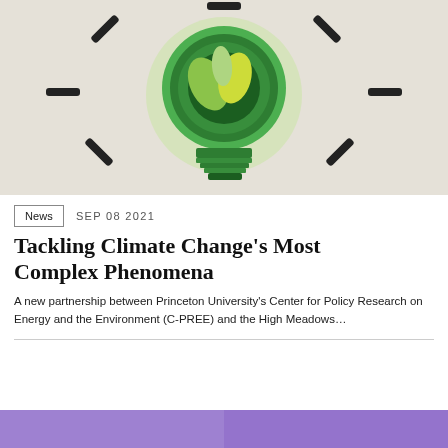[Figure (illustration): Green light bulb with plant leaves inside on a textured grey background, with dashes radiating outward like a sun symbol]
News   SEP 08 2021
Tackling Climate Change's Most Complex Phenomena
A new partnership between Princeton University's Center for Policy Research on Energy and the Environment (C-PREE) and the High Meadows...
[Figure (photo): Partial purple/lavender toned image at the bottom of the page, cropped]